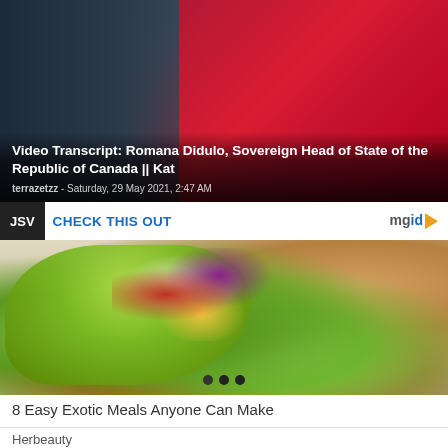[Figure (photo): News article header image showing a person in dark clothing against a Canadian flag background]
Video Transcript: Romana Didulo, Sovereign Head of State of the Republic of Canada || Kat
terrazetzz - Saturday, 29 May 2021, 2:47 AM
CHECK THIS OUT
[Figure (photo): Food photo showing green vegetable wraps filled with colorful vegetables including red cabbage, carrots, and tomatoes, with a dipping sauce in a bowl in the background]
8 Easy Exotic Meals Anyone Can Make
Herbeauty